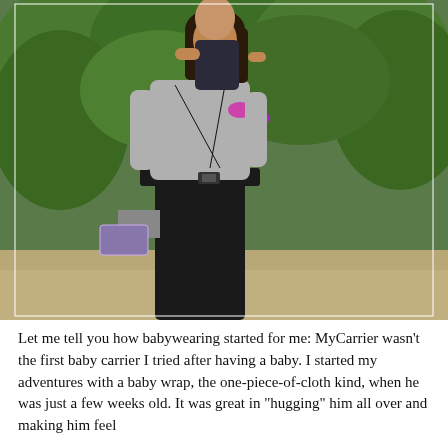[Figure (photo): A woman wearing a gray long-sleeve top and black pants carries a toddler on her back using a black baby carrier with straps and a waist belt. The woman holds a sparkly clutch in her left hand. She is standing outdoors on a sidewalk with lush green foliage in the background. The toddler is wearing a dark top and looking to the side.]
Let me tell you how babywearing started for me: MyCarrier wasn't the first baby carrier I tried after having a baby. I started my adventures with a baby wrap, the one-piece-of-cloth kind, when he was just a few weeks old. It was great in "hugging" him all over and making him feel